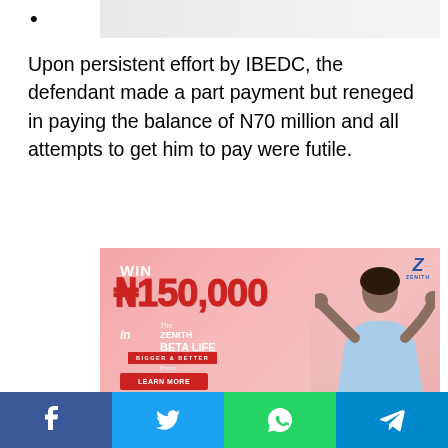•
[Figure (photo): Partial image at top of page, cropped]
Upon persistent effort by IBEDC, the defendant made a part payment but reneged in paying the balance of N70 million and all attempts to get him to pay were futile.
[Figure (photo): Zenith Bank advertisement: WIN ₦150,000 in The Zenith Beta Life Promo 2, Bigger & Better, featuring a young woman celebrating with confetti]
[Figure (infographic): Social media share buttons: Facebook, Twitter, WhatsApp, Telegram]